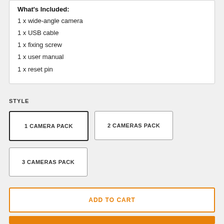What's Included:
1 x wide-angle camera
1 x USB cable
1 x fixing screw
1 x user manual
1 x reset pin
STYLE
1 CAMERA PACK
2 CAMERAS PACK
3 CAMERAS PACK
ADD TO CART